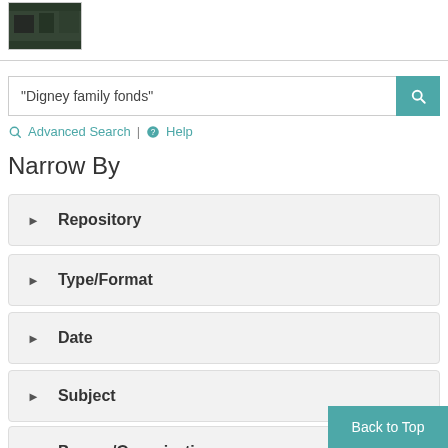[Figure (photo): Small thumbnail image showing a dark photo, partially visible at top of page]
"Digney family fonds"
Advanced Search | Help
Narrow By
Repository
Type/Format
Date
Subject
Person/Organization
Back to Top